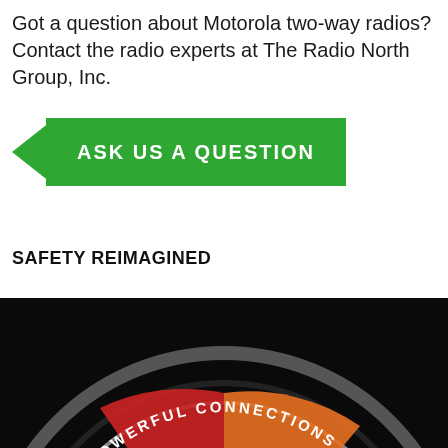Got a question about Motorola two-way radios? Contact the radio experts at The Radio North Group, Inc.
[Figure (infographic): Green button with black arrow on left side reading ASK US A QUESTION]
SAFETY REIMAGINED
[Figure (infographic): Dark circular infographic with text ENABLING POWERFUL CONNECTIONS around the arc, with colored segments for DETECT (red) and ANALYZE (orange), with icons on a black background]